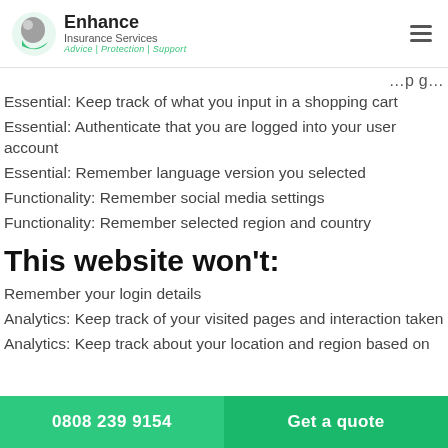Enhance Insurance Services — Advice | Protection | Support
…page…
Essential: Keep track of what you input in a shopping cart
Essential: Authenticate that you are logged into your user account
Essential: Remember language version you selected
Functionality: Remember social media settings
Functionality: Remember selected region and country
This website won't:
Remember your login details
Analytics: Keep track of your visited pages and interaction taken
Analytics: Keep track about your location and region based on
0808 239 9154   Get a quote